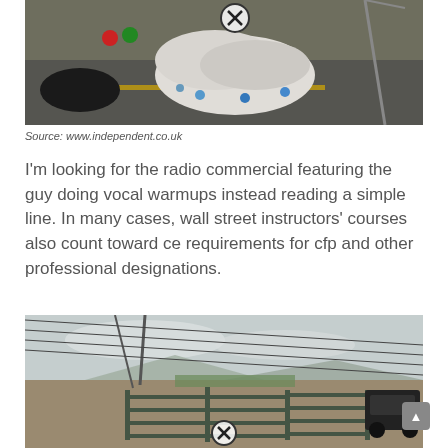[Figure (photo): Photo of a discarded or scattered Christmas tree with ornaments on pavement/road surface, with a close icon overlay]
Source: www.independent.co.uk
I'm looking for the radio commercial featuring the guy doing vocal warmups instead reading a simple line. In many cases, wall street instructors' courses also count toward ce requirements for cfp and other professional designations.
[Figure (photo): Photo of a rural scene with a metal gate/fence in a desert landscape, power lines, mountains in background, and a dark SUV on the right; close icon overlay at bottom center]